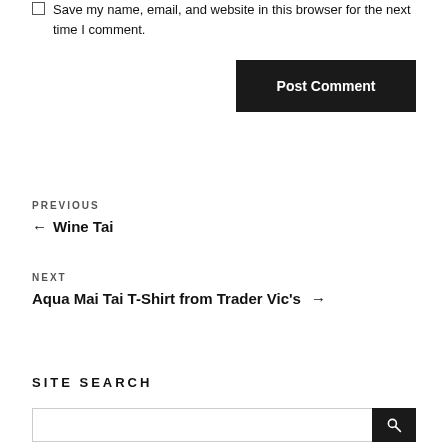Save my name, email, and website in this browser for the next time I comment.
Post Comment
PREVIOUS
← Wine Tai
NEXT
Aqua Mai Tai T-Shirt from Trader Vic's →
SITE SEARCH